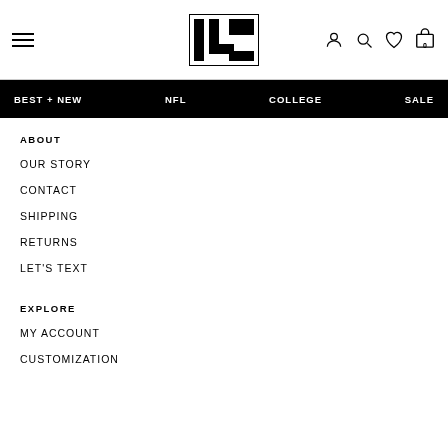Navigation header with hamburger menu, logo, and icons (account, search, wishlist, cart with 0)
BEST + NEW
NFL
COLLEGE
SALE
ABOUT
OUR STORY
CONTACT
SHIPPING
RETURNS
LET'S TEXT
EXPLORE
MY ACCOUNT
CUSTOMIZATION